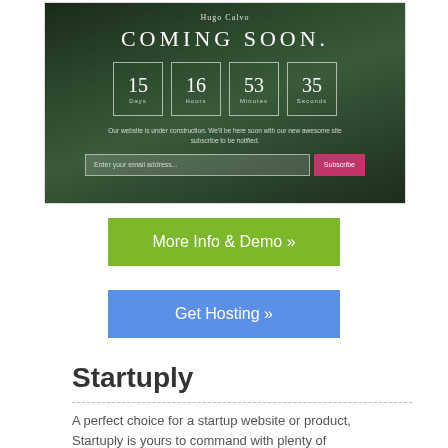[Figure (screenshot): Screenshot of a 'Coming Soon' website template showing a countdown timer with 15 days, 16 hours, 53 minutes, 35 seconds, an email subscription field, and a Subscribe button, set against a dark forest background.]
More Info & Demo »
Get Hosting »
Startuply
A perfect choice for a startup website or product, Startuply is yours to command with plenty of